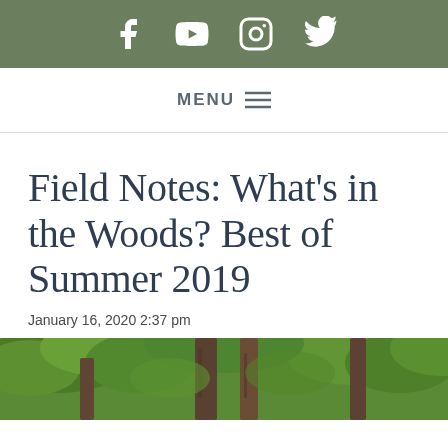Social media icons: Facebook, YouTube, Instagram, Twitter
MENU ≡
Field Notes: What's in the Woods? Best of Summer 2019
January 16, 2020 2:37 pm
[Figure (photo): Forest scene showing large tree trunks with lush green foliage in summer]